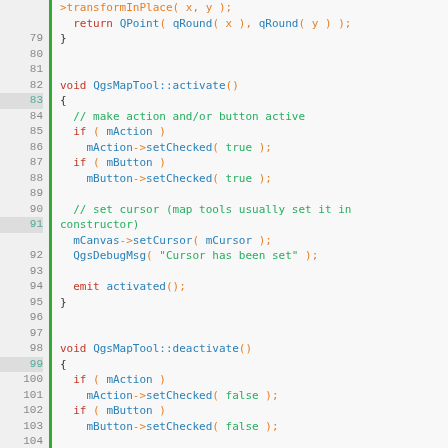[Figure (screenshot): C++ source code editor screenshot showing lines 78-110 of QgsMapTool class implementation with syntax highlighting. Code includes transformInPlace, activate(), and deactivate() methods.]